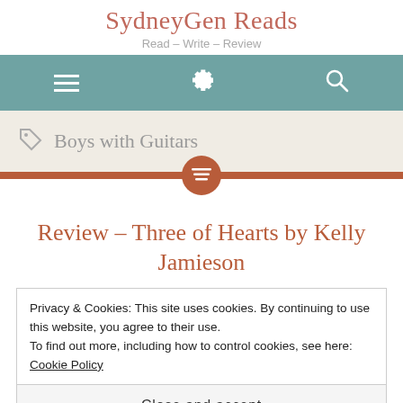SydneyGen Reads
Read – Write – Review
[Figure (screenshot): Navigation bar with hamburger menu, gear/settings icon, and search icon on teal background]
Boys with Guitars
Review – Three of Hearts by Kelly Jamieson
Privacy & Cookies: This site uses cookies. By continuing to use this website, you agree to their use.
To find out more, including how to control cookies, see here: Cookie Policy
Close and accept